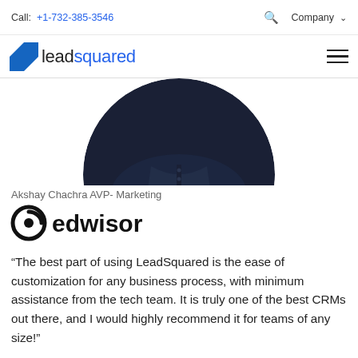Call: +1-732-385-3546  🔍  Company ˅
[Figure (logo): LeadSquared logo with blue square icon and text 'leadsquared']
[Figure (photo): Portrait photo of Akshay Chachra, cropped circular, showing upper torso in dark jacket]
Akshay Chachra AVP- Marketing
[Figure (logo): Edwisor logo with stylized 'e' icon and text 'edwisor']
“The best part of using LeadSquared is the ease of customization for any business process, with minimum assistance from the tech team. It is truly one of the best CRMs out there, and I would highly recommend it for teams of any size!”